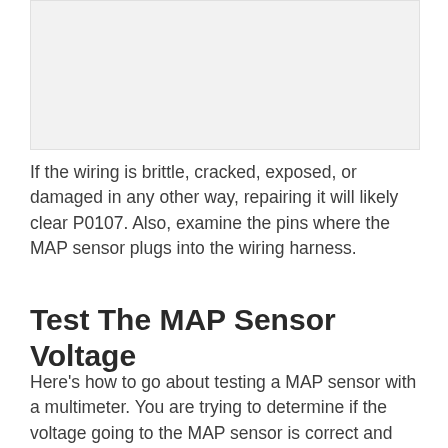[Figure (photo): Image placeholder showing a MAP sensor or wiring-related photograph]
If the wiring is brittle, cracked, exposed, or damaged in any other way, repairing it will likely clear P0107. Also, examine the pins where the MAP sensor plugs into the wiring harness.
Test The MAP Sensor Voltage
Here’s how to go about testing a MAP sensor with a multimeter. You are trying to determine if the voltage going to the MAP sensor is correct and that the voltage